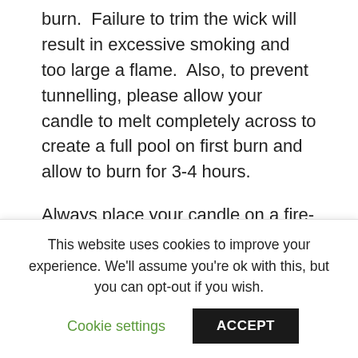burn.  Failure to trim the wick will result in excessive smoking and too large a flame.  Also, to prevent tunnelling, please allow your candle to melt completely across to create a full pool on first burn and allow to burn for 3-4 hours.
Always place your candle on a fire-proof surface.  Keep candles away from children and pets.  Also, never leave a burning candle unattended. The Magick Cauldron has no liability for damages caused by neglectful use of candles.  Candles are burnt at your
This website uses cookies to improve your experience. We'll assume you're ok with this, but you can opt-out if you wish.
Cookie settings
ACCEPT